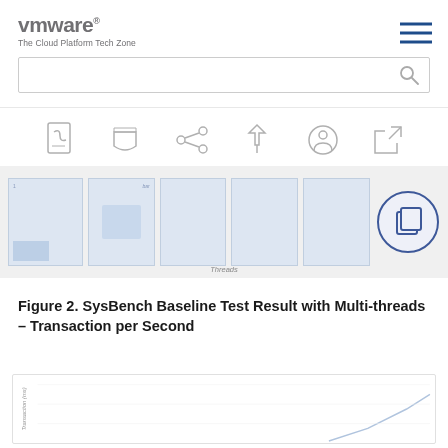VMware The Cloud Platform Tech Zone
[Figure (screenshot): Search bar with magnifying glass icon]
[Figure (infographic): Horizontal color bar with green and teal gradient]
[Figure (infographic): Toolbar row with icons: PDF/document, tag, share, pin, user/comment, expand. Below is a thumbnail strip showing chart thumbnails with a highlighted copy icon on the last item.]
Figure 2. SysBench Baseline Test Result with Multi-threads – Transaction per Second
[Figure (line-chart): Partial line chart visible at bottom of page, showing Transaction (ms) on y-axis, with a rising line visible at bottom right.]